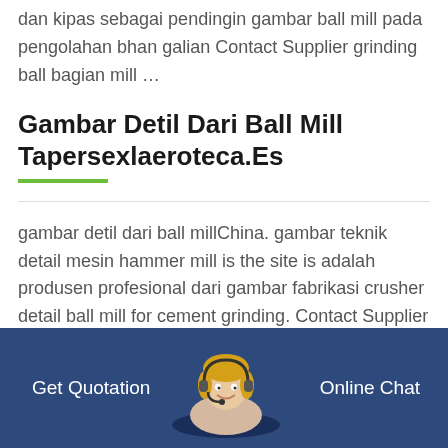dan kipas sebagai pendingin gambar ball mill pada pengolahan bhan galian Contact Supplier grinding ball bagian mill …
Gambar Detil Dari Ball Mill Tapersexlaeroteca.Es
gambar detil dari ball millChina. gambar teknik detail mesin hammer mill is the site is adalah produsen profesional dari gambar fabrikasi crusher detail ball mill for cement grinding. Contact Supplier Sin Hammer Mill Dan Spesifikasibaoli-forklifts. Get Price; gambar steel ball millstudiogenetta. Get Price
Get Quotation
Online Chat